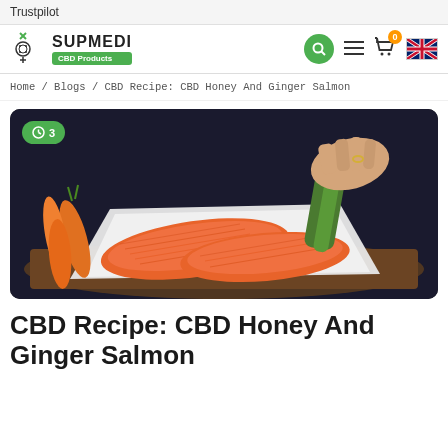Trustpilot
[Figure (logo): Supmedi CBD Products logo with green badge]
Home / Blogs / CBD Recipe: CBD Honey And Ginger Salmon
[Figure (photo): Photo of salmon fillets on white paper with carrots and zucchini on a wooden board, with a hand cutting in the background. Green clock badge showing '3' in top left corner.]
CBD Recipe: CBD Honey And Ginger Salmon